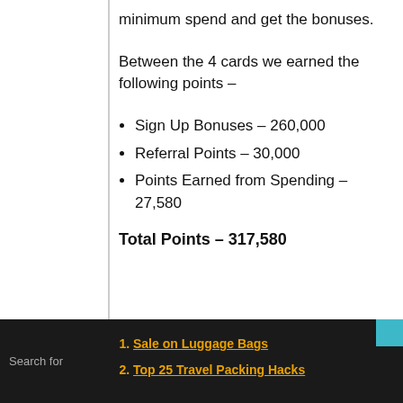minimum spend and get the bonuses.
Between the 4 cards we earned the following points –
Sign Up Bonuses – 260,000
Referral Points – 30,000
Points Earned from Spending – 27,580
Total Points – 317,580
Search for
1. Sale on Luggage Bags
2. Top 25 Travel Packing Hacks